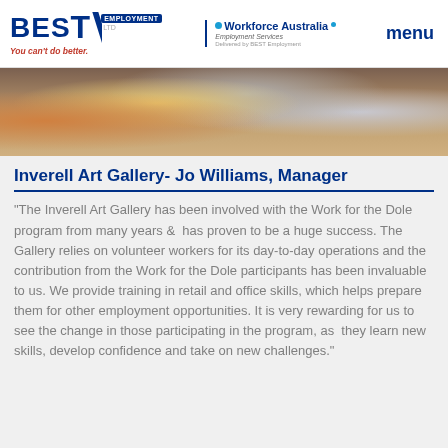[Figure (logo): BEST Employment logo with tagline 'You can't do better.' and Workforce Australia Employment Services logo and menu navigation]
[Figure (photo): Photo of a catering or gallery event setup with food, drinks, plates and glasses on a table with striped curtains in background]
Inverell Art Gallery- Jo Williams, Manager
"The Inverell Art Gallery has been involved with the Work for the Dole program from many years & has proven to be a huge success. The Gallery relies on volunteer workers for its day-to-day operations and the contribution from the Work for the Dole participants has been invaluable to us. We provide training in retail and office skills, which helps prepare them for other employment opportunities. It is very rewarding for us to see the change in those participating in the program, as they learn new skills, develop confidence and take on new challenges."